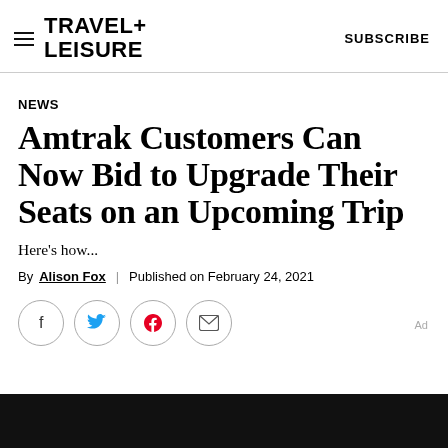TRAVEL+LEISURE   SUBSCRIBE
NEWS
Amtrak Customers Can Now Bid to Upgrade Their Seats on an Upcoming Trip
Here's how...
By Alison Fox | Published on February 24, 2021
[Figure (other): Social sharing icons: Facebook, Twitter, Pinterest, Email. Ad label on the right.]
[Figure (photo): Dark/black image bar at the bottom of the page.]